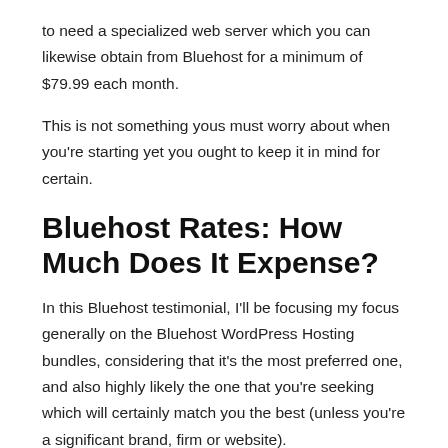to need a specialized web server which you can likewise obtain from Bluehost for a minimum of $79.99 each month.
This is not something yous must worry about when you're starting yet you ought to keep it in mind for certain.
Bluehost Rates: How Much Does It Expense?
In this Bluehost testimonial, I'll be focusing my focus generally on the Bluehost WordPress Hosting bundles, considering that it's the most preferred one, and also highly likely the one that you're seeking which will certainly match you the best (unless you're a significant brand, firm or website).
The three offered strategies, are as complies with:
Fundamental Plan– $2.95 each month/ $7.99 routine cost